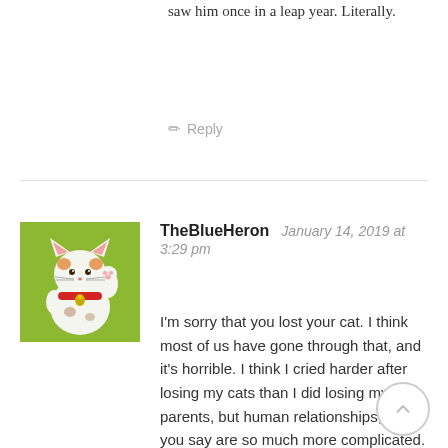saw him once in a leap year. Literally.
✏ Reply
TheBlueHeron  January 14, 2019 at 3:29 pm
I'm sorry that you lost your cat. I think most of us have gone through that, and it's horrible. I think I cried harder after losing my cats than I did losing my parents, but human relationships, as you say are so much more complicated. I'm glad that Nala brought you and Evan back together.
[Figure (photo): Profile avatar showing a lucky cat (maneki-neko) figurine with raised paw on a green background]